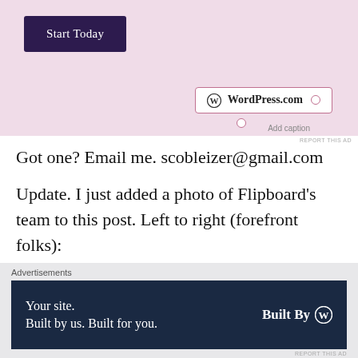[Figure (screenshot): WordPress.com advertisement banner with pink background, showing 'Start Today' button and WordPress.com badge with caption UI]
REPORT THIS AD
Got one? Email me. scobleizer@gmail.com
Update. I just added a photo of Flipboard's team to this post. Left to right (forefront folks):
co-founder, Evan Doll
engineer, Troy Brant
engineer, Charles Ying
Advertisements
[Figure (screenshot): WordPress.com dark navy advertisement: 'Your site. Built by us. Built for you.' with 'Built By' WordPress logo]